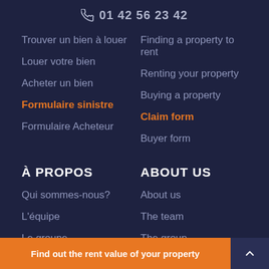01 42 56 23 42
Trouver un bien à louer
Finding a property to rent
Louer votre bien
Renting your property
Acheter un bien
Buying a property
Formulaire sinistre
Claim form
Formulaire Acheteur
Buyer form
À PROPOS
ABOUT US
Qui sommes-nous?
About us
L'équipe
The team
Le groupe
The group
Blog
Blog
Vidéos
Videos
Find out the rent value of your property